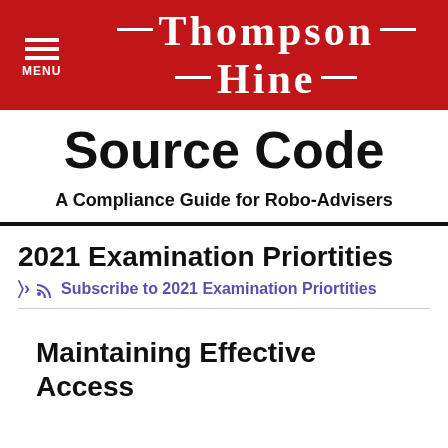MENU | THOMPSON HINE
Source Code
A Compliance Guide for Robo-Advisers
2021 Examination Priortities
Subscribe to 2021 Examination Priortities
Maintaining Effective Access